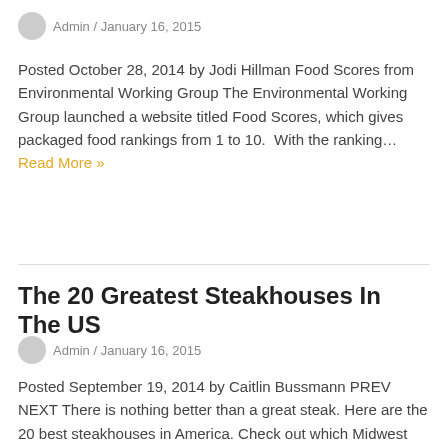Admin / January 16, 2015
Posted October 28, 2014 by Jodi Hillman Food Scores from Environmental Working Group The Environmental Working Group launched a website titled Food Scores, which gives packaged food rankings from 1 to 10.  With the ranking… Read More »
The 20 Greatest Steakhouses In The US
Admin / January 16, 2015
Posted September 19, 2014 by Caitlin Bussmann PREV NEXT There is nothing better than a great steak. Here are the 20 best steakhouses in America. Check out which Midwest steakhouse claimed our top spot. Our… Read